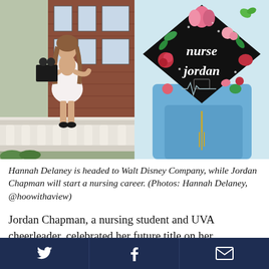[Figure (photo): Two graduation photos side by side: left shows Hannah Delaney in a white floral dress sitting on a white stone balustrade holding a Mickey Mouse graduation cap in front of a brick building; right shows Jordan Chapman holding up a black graduation cap decorated with colorful painted flowers and the words 'nurse jordan', wearing a blue dress.]
Hannah Delaney is headed to Walt Disney Company, while Jordan Chapman will start a nursing career. (Photos: Hannah Delaney, @hoowithaview)
Jordan Chapman, a nursing student and UVA cheerleader, celebrated her future title on her
Twitter | Facebook | Email